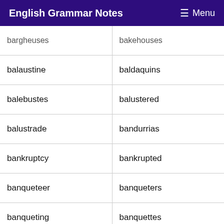English Grammar Notes  ≡ Menu
| bargheuses | bakehouses |
| balaustine | baldaquins |
| balebustes | balustered |
| balustrade | bandurrias |
| bankruptcy | bankrupted |
| banqueteer | banqueters |
| banqueting | banquettes |
| barbecuers | barbecuing |
| barbequing | barbituism |
| barbituric | bardacious |